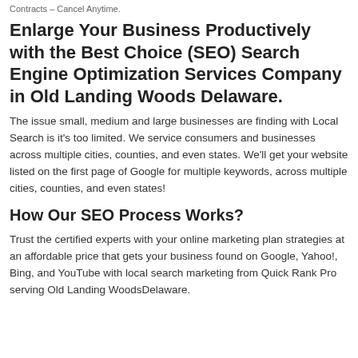Contracts – Cancel Anytime.
Enlarge Your Business Productively with the Best Choice (SEO) Search Engine Optimization Services Company in Old Landing Woods Delaware.
The issue small, medium and large businesses are finding with Local Search is it's too limited. We service consumers and businesses across multiple cities, counties, and even states. We'll get your website listed on the first page of Google for multiple keywords, across multiple cities, counties, and even states!
How Our SEO Process Works?
Trust the certified experts with your online marketing plan strategies at an affordable price that gets your business found on Google, Yahoo!, Bing, and YouTube with local search marketing from Quick Rank Pro serving Old Landing WoodsDelaware.